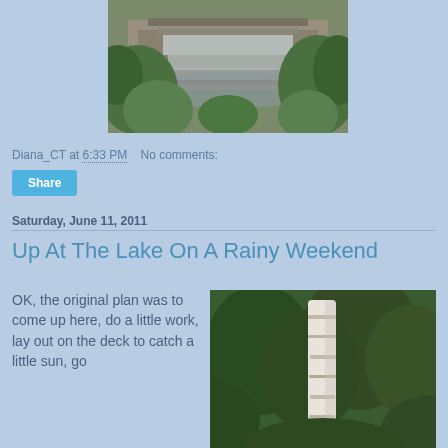[Figure (photo): Waterfall cascading over stone steps surrounded by green foliage]
Diana_CT at 6:33 PM   No comments:
Share
Saturday, June 11, 2011
Up At The Lake On A Rainy Weekend
OK, the original plan was to come up here, do a little work, lay out on the deck to catch a little sun, go
[Figure (photo): Birch tree trunk with green forest background]